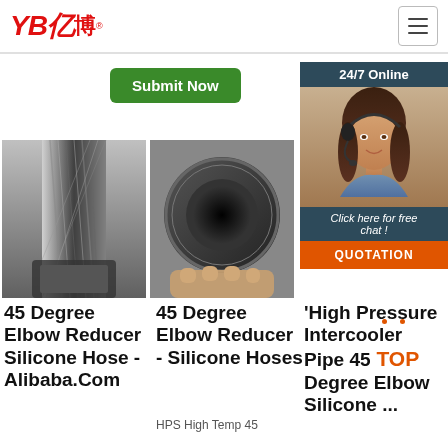YB亿博® — navigation header with hamburger menu
Submit Now
[Figure (photo): 24/7 Online customer service agent banner with photo of woman with headset, dark teal background, 'Click here for free chat!' text, and orange QUOTATION button]
[Figure (photo): 45 Degree Elbow Reducer Silicone Hose product photo – close-up of metal/silicone hose fitting]
[Figure (photo): 45 Degree Elbow Reducer Silicone Hoses product photo – close-up of black rubber hose end]
45 Degree Elbow Reducer Silicone Hose - Alibaba.Com
45 Degree Elbow Reducer - Silicone Hoses
HPS High Temp 45
'High Pressure Intercooler Pipe 45 Degree Elbow Silicone ...
TOP